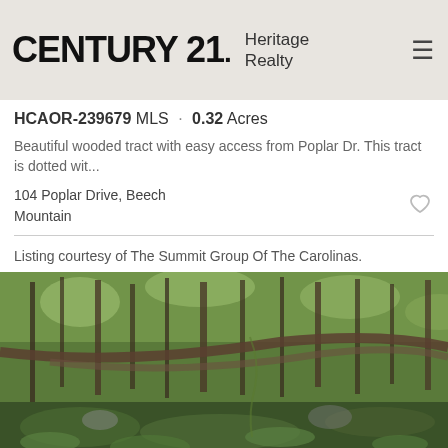CENTURY 21. Heritage Realty
HCAOR-239679 MLS · 0.32 Acres
Beautiful wooded tract with easy access from Poplar Dr. This tract is dotted wit...
104 Poplar Drive, Beech Mountain
Listing courtesy of The Summit Group Of The Carolinas.
[Figure (photo): Wooded forest tract with green undergrowth, fallen logs, moss-covered rocks and tall trees at 104 Poplar Drive, Beech Mountain]